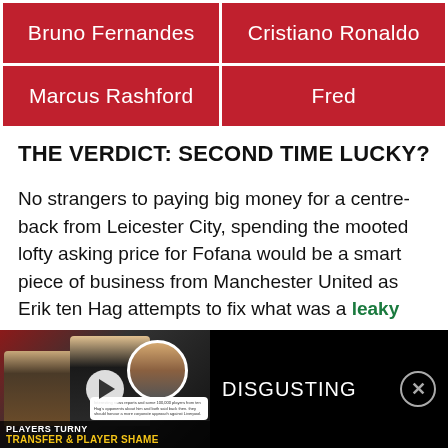| Bruno Fernandes | Cristiano Ronaldo |
| Marcus Rashford | Fred |
THE VERDICT: SECOND TIME LUCKY?
No strangers to paying big money for a centre-back from Leicester City, spending the mooted lofty asking price for Fofana would be a smart piece of business from Manchester United as Erik ten Hag attempts to fix what was a leaky backline at times during 2021/22.
[Figure (screenshot): Video thumbnail showing two men with text 'PLAYERS TURNY' and 'TRANSFER & PLAYER SHAME' at bottom, with 'DISGUSTING' text and close button on black bar]